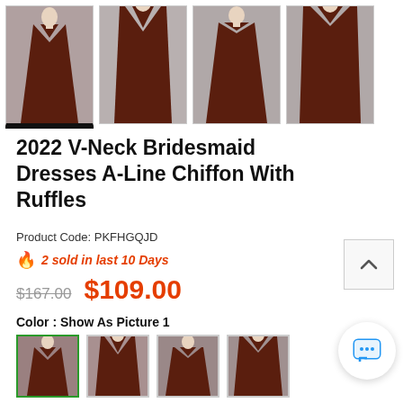[Figure (photo): Four thumbnail photos of a dark brown bridesmaid dress on a mannequin, showing different angles: full front, front bodice, back full, back bodice. First thumbnail has underline indicating selection.]
2022 V-Neck Bridesmaid Dresses A-Line Chiffon With Ruffles
Product Code: PKFHGQJD
🔥 2 sold in last 10 Days
$167.00  $109.00
Color : Show As Picture 1
[Figure (photo): Four small color swatch thumbnail images of the same dark brown dress, first one selected with green border.]